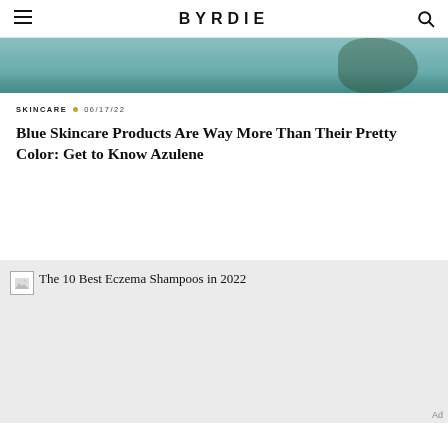BYRDIE
[Figure (photo): Partial top of article image, teal/blue-green toned photo, cropped at top of view]
SKINCARE • 06/17/22
Blue Skincare Products Are Way More Than Their Pretty Color: Get to Know Azulene
[Figure (photo): Broken image placeholder followed by article card image area with light gray background]
The 10 Best Eczema Shampoos in 2022
Ad